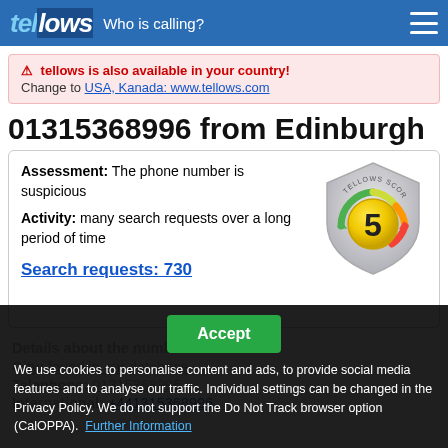tellows — Who is calling?
tellows is also available in your country! Change to USA, Kanada: www.tellows.com
01315368996 from Edinburgh
Assessment: The phone number is suspicious
Activity: many search requests over a long period of time
Search requests: 730
[Figure (other): Tellows score badge showing score 5 on a shield-shaped gauge with green-yellow-orange-red coloring]
Details about the number
City: found in our database
Telephone: 01315368996
International: +441315368996
We use cookies to personalise content and ads, to provide social media features and to analyse our traffic. Individual settings can be changed in the Privacy Policy. We do not support the Do Not Track browser option (CalOPPA). Further Information